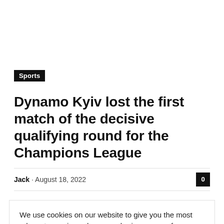Sports
Dynamo Kyiv lost the first match of the decisive qualifying round for the Champions League
Jack · August 18, 2022
We use cookies on our website to give you the most relevant experience by remembering your preferences and repeat visits. By clicking "Accept All", you consent to the use of ALL the cookies. However, you may visit "Cookie Settings" to provide a controlled consent.